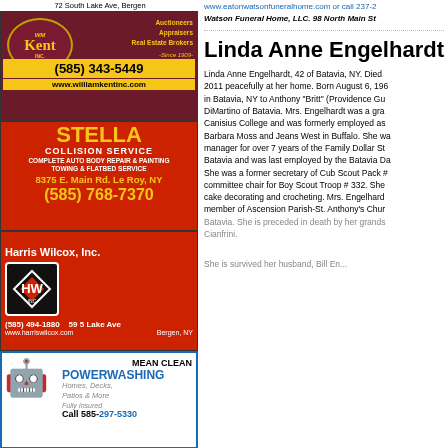72 South Lake Ave, Bergen
[Figure (advertisement): William Kent Inc. Auctioneers Appraisers Real Estate Brokers since 1909. Phone (585) 343-5449. www.williamkentinc.com. Dark red background with gold text.]
[Figure (advertisement): Stella Collision Service. Complete Auto Body Repair & Painting, Towing & Flatbed Service. 8375 E. Main Rd. Le Roy, NY. (585) 768-7370. Red background with yellow text.]
[Figure (advertisement): Harris Wilcox, Inc. (585) 494-1880. 59 5 Lake Ave Bergen, NY. www.harriswilcox.com. Red background with white logo and text.]
[Figure (advertisement): Mean Clean Powerwashing. Homes, Decks, Patios & More. Fully Insured. Call 585-297-5330. Blue and white with cartoon character.]
[Figure (advertisement): Blondies ORDER YOUR ICE CREAM PIE TODAY! HRS: Mon-Sat 11:30am - 9pm, Sun: 1-9pm]
www.eatonwatsonfuneralhome.com or call 237-2...
Watson Funeral Home, LLC. 98 North Main St...
Linda Anne Engelhardt
Linda Anne Engelhardt, 42 of Batavia, NY. Died 2011 peacefully at her home. Born August 6, 196... in Batavia, NY to Anthony "Britt" (Providence Gu... DiMartino of Batavia. Mrs. Engelhardt was a gra... Canisius College and was formerly employed as ... Barbara Moss and Jeans West in Buffalo. She wa... manager for over 7 years of the Family Dollar St... Batavia and was last employed by the Batavia Da... She was a former secretary of Cub Scout Pack #... committee chair for Boy Scout Troop # 332. She... cake decorating and crocheting. Mrs. Engelhard... member of Ascension Parish-St. Anthony's Chur... Batavia. She is preceded in death by her grands... Cianfrini. She is survived her husband, Bill En...